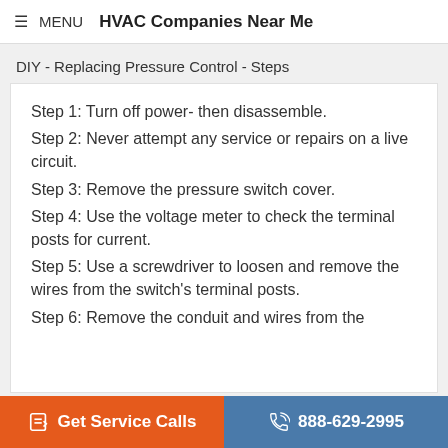≡ MENU   HVAC Companies Near Me
DIY - Replacing Pressure Control - Steps
Step 1: Turn off power- then disassemble.
Step 2: Never attempt any service or repairs on a live circuit.
Step 3: Remove the pressure switch cover.
Step 4: Use the voltage meter to check the terminal posts for current.
Step 5: Use a screwdriver to loosen and remove the wires from the switch's terminal posts.
Step 6: Remove the conduit and wires from the…
Get Service Calls   888-629-2995